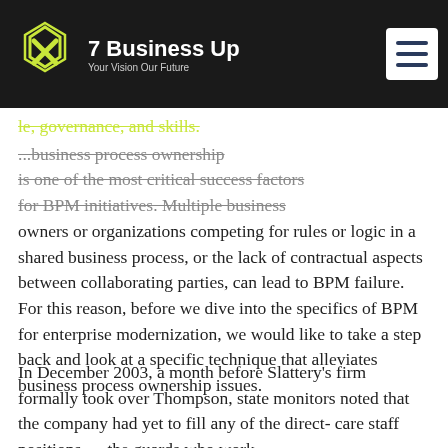7 Business Up — Your Vision Our Future
le, governance, and skills. ...business process ownership is one of the most critical success factors for BPM initiatives. Multiple business owners or organizations competing for rules or logic in a shared business process, or the lack of contractual aspects between collaborating parties, can lead to BPM failure. For this reason, before we dive into the specifics of BPM for enterprise modernization, we would like to take a step back and look at a specific technique that alleviates business process ownership issues.
In December 2003, a month before Slattery's firm formally took over Thompson, state monitors noted that the company had yet to fill any of the direct-care staff positions — the guards who work